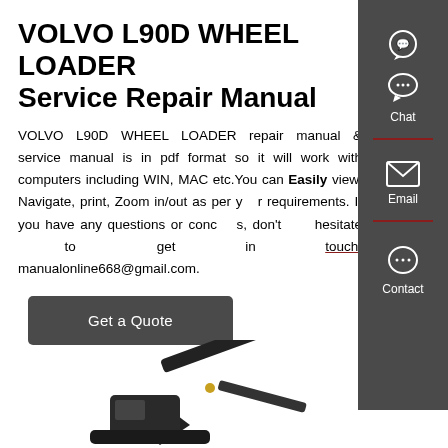VOLVO L90D WHEEL LOADER Service Repair Manual
VOLVO L90D WHEEL LOADER repair manual & service manual is in pdf format so it will work with computers including WIN, MAC etc.You can Easily view, Navigate, print, Zoom in/out as per your requirements. If you have any questions or concerns, don't hesitate to get in touch: manualonline668@gmail.com.
[Figure (infographic): Dark sidebar panel with Chat, Email, and Contact icons]
[Figure (photo): Partial view of a Hyundai construction machine/excavator arm at the bottom of the page]